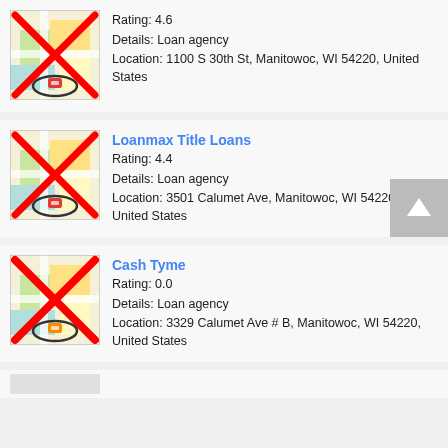[Figure (screenshot): Map thumbnail with red X overlay and location pin icon for first listing]
Rating: 4.6
Details: Loan agency
Location: 1100 S 30th St, Manitowoc, WI 54220, United States
[Figure (screenshot): Map thumbnail with red X overlay and location pin icon for Loanmax Title Loans]
Loanmax Title Loans
Rating: 4.4
Details: Loan agency
Location: 3501 Calumet Ave, Manitowoc, WI 54220, United States
[Figure (screenshot): Map thumbnail with red X overlay and location pin icon for Cash Tyme]
Cash Tyme
Rating: 0.0
Details: Loan agency
Location: 3329 Calumet Ave # B, Manitowoc, WI 54220, United States